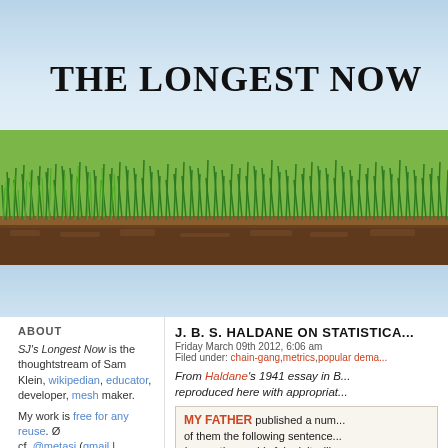THE LONGEST NOW
[Figure (photo): Photograph of green grass with soil/roots at the bottom, used as a decorative header banner for the blog.]
ABOUT
SJ's Longest Now is the thoughtstream of Sam Klein, wikipedian, educator, developer, mesh maker.
My work is free for any reuse. Ø cf. @metasj (gmail | about²)
SEARCH:
J. B. S. HALDANE ON STATISTICA...
Friday March 09th 2012, 6:06 am
Filed under: chain-gang, metrics, popular dema...
From Haldane's 1941 essay in B... reproduced here with appropriat...
MY FATHER published a num... of them the following sentence... is very thoroughly faked, it will... Every biochemist will sympath...